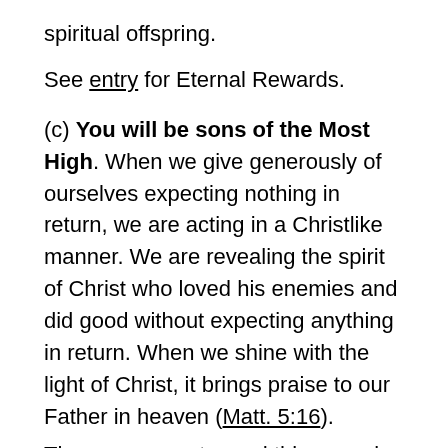spiritual offspring.
See entry for Eternal Rewards.
(c) You will be sons of the Most High. When we give generously of ourselves expecting nothing in return, we are acting in a Christlike manner. We are revealing the spirit of Christ who loved his enemies and did good without expecting anything in return. When we shine with the light of Christ, it brings praise to our Father in heaven (Matt. 5:16).
The wrong way to read this verse is to think philanthropy qualifies us for sonship. We are